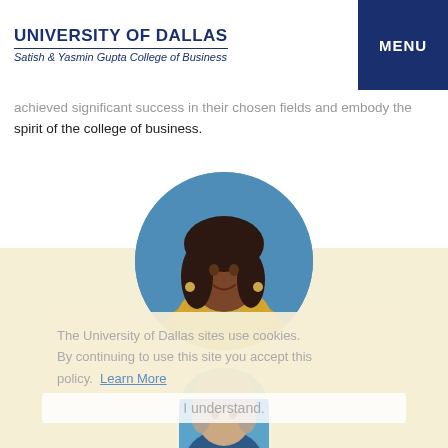UNIVERSITY OF DALLAS — Satish & Yasmin Gupta College of Business — MENU
...achieved significant success in their chosen fields and embody the spirit of the college of business.
[Figure (photo): Circular profile photo of a woman with dark hair wearing a yellow/gold outfit, against a blue background]
The University of Dallas sites use cookies. By continuing to use this site you accept this policy. Learn More
I understand.
[Figure (photo): Circular profile photo of a person with light hair, partially visible at bottom of page, against a blue background]